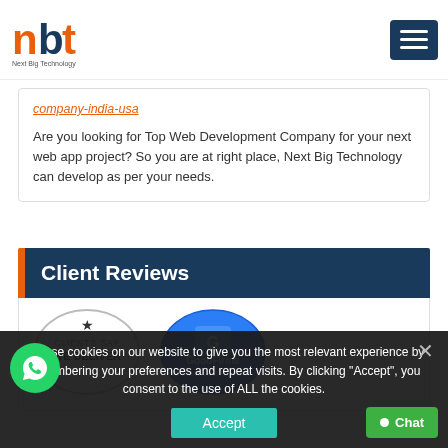Next Big Technology - nbt logo and hamburger menu
company-india-usa
Are you looking for Top Web Development Company for your next web app project? So you are at right place, Next Big Technology can develop as per your needs.
Client Reviews
[Figure (logo): Clients Say We Deliver badge - circular badge with star and text CLIENTS SAY WE DELIVER]
[Figure (logo): GoodFirms badge - circular blue badge with GoodFirms logo and text B2B Research & Review Firm]
We use cookies on our website to give you the most relevant experience by remembering your preferences and repeat visits. By clicking "Accept", you consent to the use of ALL the cookies.